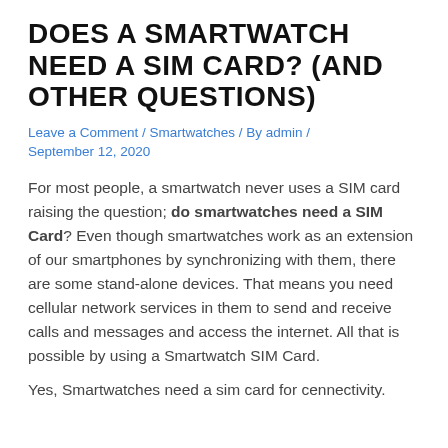DOES A SMARTWATCH NEED A SIM CARD? (AND OTHER QUESTIONS)
Leave a Comment / Smartwatches / By admin / September 12, 2020
For most people, a smartwatch never uses a SIM card raising the question; do smartwatches need a SIM Card? Even though smartwatches work as an extension of our smartphones by synchronizing with them, there are some stand-alone devices. That means you need cellular network services in them to send and receive calls and messages and access the internet. All that is possible by using a Smartwatch SIM Card.
Yes, Smartwatches need a sim card for connectivity.